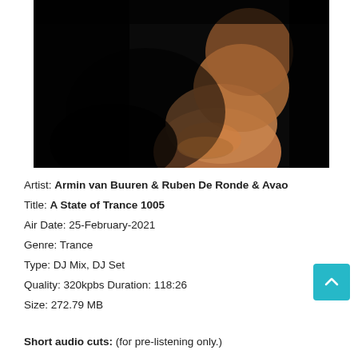[Figure (photo): Dark portrait photo of a person (Armin van Buuren) looking upward against a black background, showing face and neck/shoulder area in dramatic low-key lighting.]
Artist: Armin van Buuren & Ruben De Ronde & Avao
Title: A State of Trance 1005
Air Date: 25-February-2021
Genre: Trance
Type: DJ Mix, DJ Set
Quality: 320kpbs Duration: 118:26
Size: 272.79 MB
Short audio cuts: (for pre-listening only.)